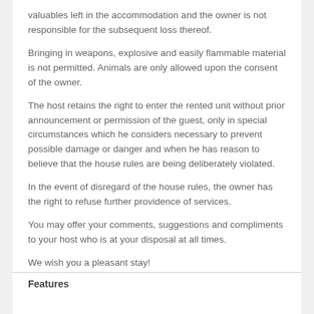valuables left in the accommodation and the owner is not responsible for the subsequent loss thereof.
Bringing in weapons, explosive and easily flammable material is not permitted. Animals are only allowed upon the consent of the owner.
The host retains the right to enter the rented unit without prior announcement or permission of the guest, only in special circumstances which he considers necessary to prevent possible damage or danger and when he has reason to believe that the house rules are being deliberately violated.
In the event of disregard of the house rules, the owner has the right to refuse further providence of services.
You may offer your comments, suggestions and compliments to your host who is at your disposal at all times.
We wish you a pleasant stay!
House owner
Features